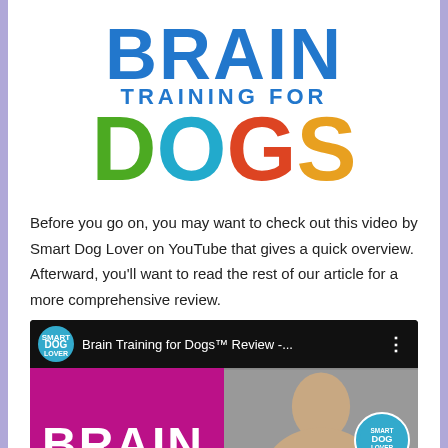[Figure (logo): Brain Training for Dogs logo with colorful lettering: BRAIN in blue, TRAINING FOR in blue, DOGS in multicolor (D green, O teal, G red, S orange)]
Before you go on, you may want to check out this video by Smart Dog Lover on YouTube that gives a quick overview. Afterward, you'll want to read the rest of our article for a more comprehensive review.
[Figure (screenshot): YouTube video thumbnail showing 'Brain Training for Dogs™ Review -...' by Smart Dog Lover channel. The thumbnail shows the word BRAIN in white on a purple/pink background and a woman on the right side with a Smart Dog Lover circular badge overlay.]